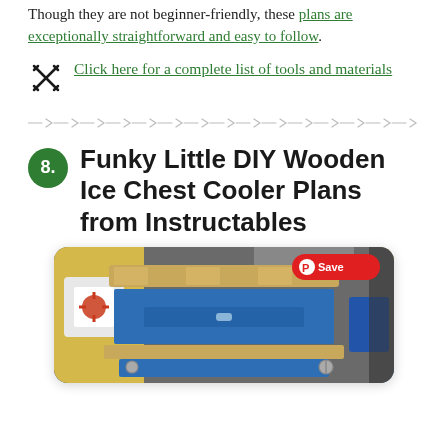Though they are not beginner-friendly, these plans are exceptionally straightforward and easy to follow.
Click here for a complete list of tools and materials
8. Funky Little DIY Wooden Ice Chest Cooler Plans from Instructables
[Figure (photo): A blue and wood DIY wooden ice chest cooler on a workbench, with a Save button overlay in the upper right corner.]